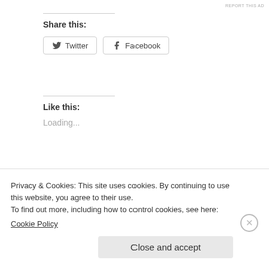REPORT THIS AD
Share this:
Twitter  Facebook
Like this:
Loading...
The military is offering to pay for my medical school– what's the catch?!
Should I have Kids in Medical School? It Depends.
August 24, 2019
Privacy & Cookies: This site uses cookies. By continuing to use this website, you agree to their use.
To find out more, including how to control cookies, see here:
Cookie Policy
Close and accept